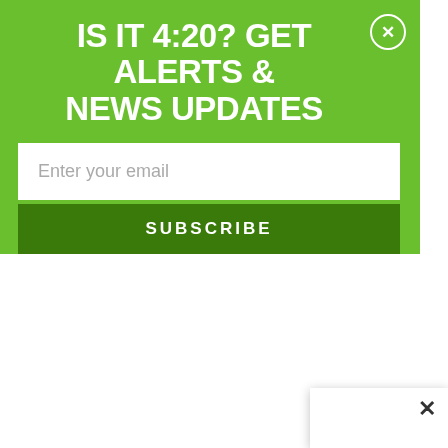IS IT 4:20? GET ALERTS & NEWS UPDATES
Enter your email
SUBSCRIBE
federal health agencies pharmaceutical canna to patients. In many EU documentation require partly due to the high c aforementioned drugs.
Regulators, lawmakers within the European U